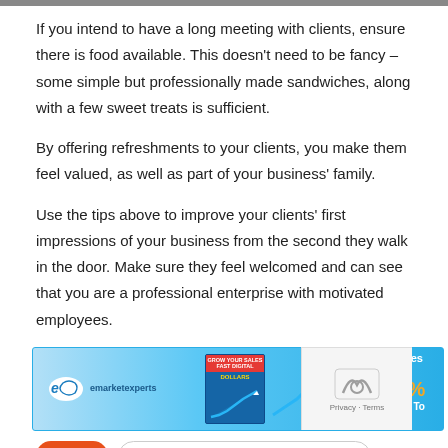If you intend to have a long meeting with clients, ensure there is food available. This doesn't need to be fancy – some simple but professionally made sandwiches, along with a few sweet treats is sufficient.
By offering refreshments to your clients, you make them feel valued, as well as part of your business' family.
Use the tips above to improve your clients' first impressions of your business from the second they walk in the door. Make sure they feel welcomed and can see that you are a professional enterprise with motivated employees.
[Figure (infographic): Advertisement banner for emarketexperts: 'Grow Sales By 1300% – 15 Tactics To Try Now! GET FREE eBOOK']
Tags: Commercial Cleaning Carrum Downs